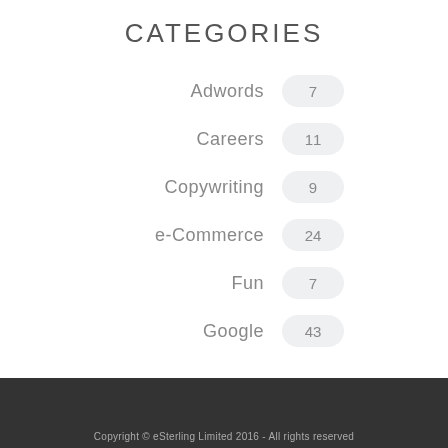CATEGORIES
Adwords 7
Careers 11
Copywriting 9
e-Commerce 24
Fun 7
Google 43
Copyright © eSterling Limited 2016 - All rights reserved